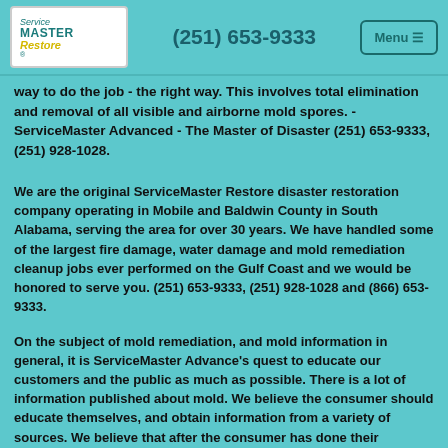(251) 653-9333  Menu
way to do the job - the right way. This involves total elimination and removal of all visible and airborne mold spores.  - ServiceMaster Advanced - The Master of Disaster (251) 653-9333, (251) 928-1028.
We are the original ServiceMaster Restore disaster restoration company operating in Mobile and Baldwin County in South Alabama, serving the area for over 30 years. We have handled some of the largest fire damage, water damage and mold remediation cleanup jobs ever performed on the Gulf Coast and we would be honored to serve you. (251) 653-9333, (251) 928-1028 and (866) 653-9333.
On the subject of mold remediation, and mold information in general, it is ServiceMaster Advance's quest to educate our customers and the public as much as possible. There is a lot of information published about mold. We believe the consumer should educate themselves, and obtain information from a variety of sources. We believe that after the consumer has done their homework, they will clearly understand why our approach is one of